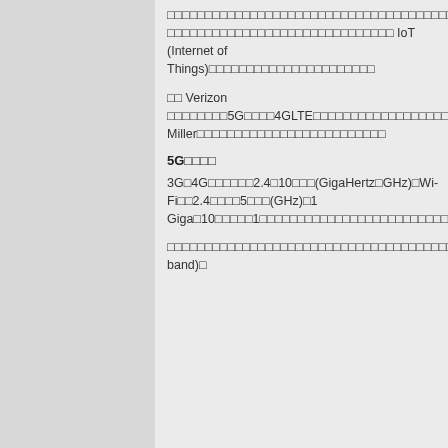□□□□□□□□□□□□□□□□□□□□□□□□□□□□□□□□□□□□□□□□□□□□□□□□□□□□□□□□……□□□□□□□□□□□□□□□□□□□□□□□□□□□□□□ IoT (Internet of Things)□□□□□□□□□□□□□□□□□□□□□□
□□ Verizon □□□□□□□□5G□□□□4GLTE□□□□□□□□□□□□□□□□□□□□□□□□□□□□□□□□□□□□□□□□□□□□□□□□□□□□□□□□□□□□Oram Miller□□□□□□□□□□□□□□□□□□□□□□□□□
5G□□□□
3G□4G□□□□□□2.4□10□□□(GigaHertz□GHz)□Wi-Fi□□2.4□□□□5□□□(GHz)□1 Giga□10□□□□□1□□□□□□□□□□□□□□□□□□□□□□□□□□□□□□□□□□□□□□□□□□□□□24□96□□□GHz□
□□□□□□□□□□□□□□□□□□□□□□□□□□□□□□□□□□□□□□□□□□□□□□□□900□□□MHz□□□□□□□□13□□□□□□2.4□□□□□□□□5□□□□□□□10□□□□□90□□□□□□□□□□□□(mm)□□□5G□□□□□□□□□(Millimeter band)□